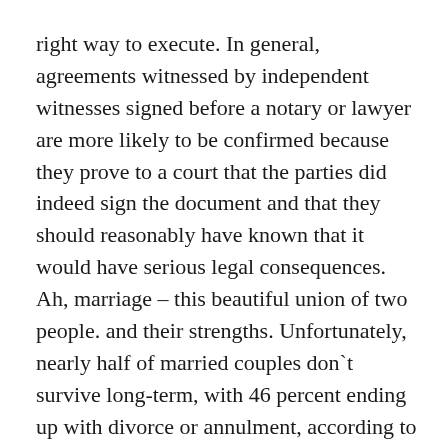right way to execute. In general, agreements witnessed by independent witnesses signed before a notary or lawyer are more likely to be confirmed because they prove to a court that the parties did indeed sign the document and that they should reasonably have known that it would have serious legal consequences. Ah, marriage – this beautiful union of two people. and their strengths. Unfortunately, nearly half of married couples don`t survive long-term, with 46 percent ending up with divorce or annulment, according to a 2016 report by the CDC/NCHS National Vital Statistics System, which looked at marriage and divorce rates in 44 reporting states as well. C Washington D.
Another study concludes that the divorce rate for second marriages ranges from 67% to 80%. Not surprisingly, according to a 2016 study by the American Academy of Matrimonial Lawyers (AAML),